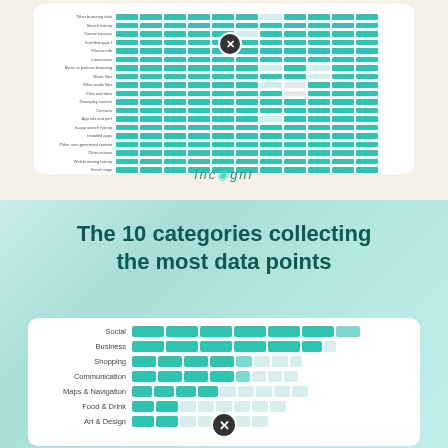[Figure (infographic): Top portion of a grid-style heatmap chart showing data collection categories vs apps, with teal blocks indicating data collected. An X icon overlay is visible. Incogni logo appears below the chart card.]
The 10 categories collecting the most data points
[Figure (bar-chart): Horizontal segmented bar chart showing data points collected per category. Social and Business have the most filled segments, decreasing down the list.]